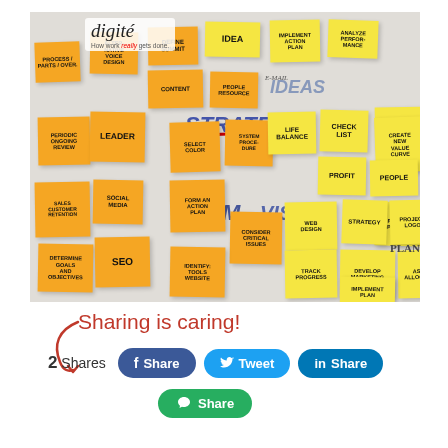[Figure (photo): A whiteboard covered with orange and yellow sticky notes with handwritten words like STRATEGY, LEADER, TEAM, VISION, SEO, PLAN, PROFIT, PEOPLE, WEB DESIGN, etc. The Digite logo appears in the top-left corner of the image.]
Sharing is caring!
2 Shares
Share
Tweet
Share
Share